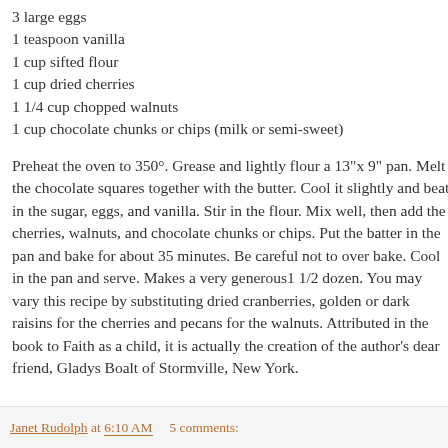3 large eggs
1 teaspoon vanilla
1 cup sifted flour
1 cup dried cherries
1 1/4 cup chopped walnuts
1 cup chocolate chunks or chips (milk or semi-sweet)
Preheat the oven to 350°. Grease and lightly flour a 13"x 9" pan. Melt the chocolate squares together with the butter. Cool it slightly and beat in the sugar, eggs, and vanilla. Stir in the flour. Mix well, then add the cherries, walnuts, and chocolate chunks or chips. Put the batter in the pan and bake for about 35 minutes. Be careful not to over bake. Cool in the pan and serve. Makes a very generous1 1/2 dozen. You may vary this recipe by substituting dried cranberries, golden or dark raisins for the cherries and pecans for the walnuts. Attributed in the book to Faith as a child, it is actually the creation of the author's dear friend, Gladys Boalt of Stormville, New York.
Janet Rudolph at 6:10 AM    5 comments: